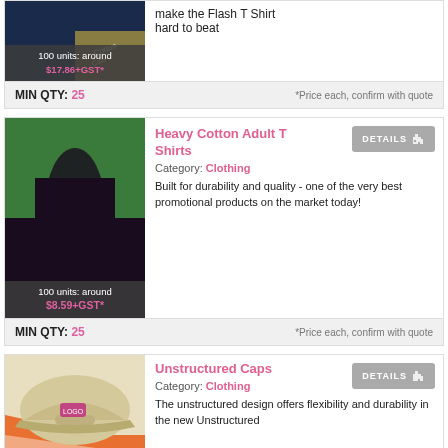[Figure (photo): Partial top card showing a Flash T Shirt product image with dark navy and gold coloring, price overlay showing 100 units: around $17.86+GST*]
make the Flash T Shirt hard to beat
100 units: around $17.86+GST*
MIN QTY: 25   *Price each, confirm with quote
[Figure (photo): Person wearing a dark maroon/black heavy cotton adult t-shirt outdoors near a tree, price overlay showing 100 units: around $8.59+GST*]
Heavy Cotton Adult T Shirts
Category: Clothing
Built for durability and quality - one of the very best promotional products on the market today!
MIN QTY: 25   *Price each, confirm with quote
[Figure (photo): Khaki/beige unstructured cap with a small logo patch, displayed with an orange and white diagonal background, price overlay showing 250 units: around]
Unstructured Caps
Category: Clothing
The unstructured design offers flexibility and durability in the new Unstructured